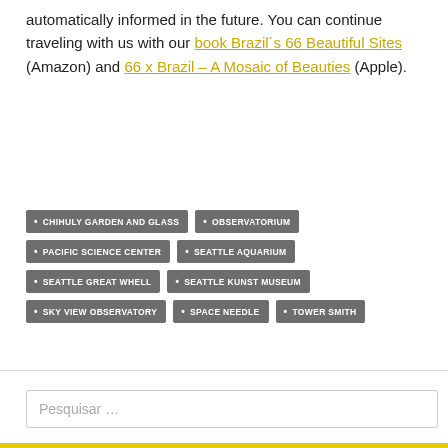automatically informed in the future. You can continue traveling with us with our book Brazil´s 66 Beautiful Sites (Amazon) and 66 x Brazil – A Mosaic of Beauties (Apple).
CHIHULY GARDEN AND GLASS
OBSERVATORIUM
PACIFIC SCIENCE CENTER
SEATTLE AQUARIUM
SEATTLE GREAT WHELL
SEATTLE KUNST MUSEUM
SKY VIEW OBSERVATORY
SPACE NEEDLE
TOWER SMITH